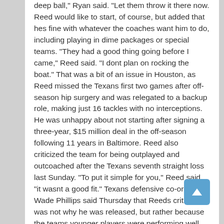deep ball," Ryan said. "Let them throw it there now. Reed would like to start, of course, but added that hes fine with whatever the coaches want him to do, including playing in dime packages or special teams. "They had a good thing going before I came," Reed said. "I dont plan on rocking the boat." That was a bit of an issue in Houston, as Reed missed the Texans first two games after off-season hip surgery and was relegated to a backup role, making just 16 tackles with no interceptions. He was unhappy about not starting after signing a three-year, $15 million deal in the off-season following 11 years in Baltimore. Reed also criticized the team for being outplayed and outcoached after the Texans seventh straight loss last Sunday. "To put it simple for you," Reed said, "it wasnt a good fit." Texans defensive co-ordinator Wade Phillips said Thursday that Reeds criticism was not why he was released, but rather because the teams younger players were performing well and